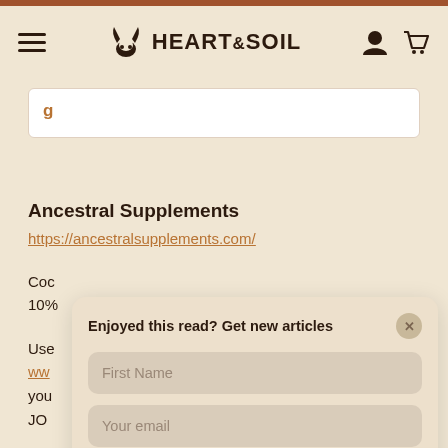[Figure (logo): Heart & Soil logo with horns icon and navigation hamburger menu, user icon, and cart icon]
Ancestral Supplements
https://ancestralsupplements.com/
Coc... 10%...
Use... ww... you...
JO...
Enjoyed this read? Get new articles
First Name
Your email
Subscribe